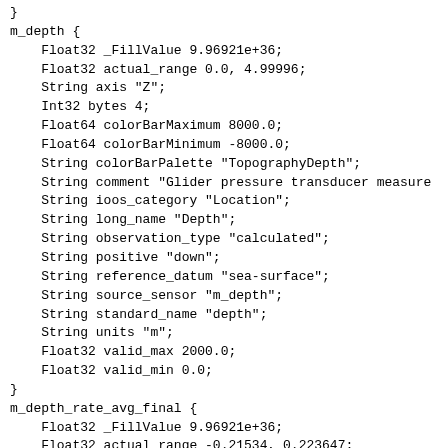}
m_depth {
    Float32 _FillValue 9.96921e+36;
    Float32 actual_range 0.0, 4.99996;
    String axis "Z";
    Int32 bytes 4;
    Float64 colorBarMaximum 8000.0;
    Float64 colorBarMinimum -8000.0;
    String colorBarPalette "TopographyDepth";
    String comment "Glider pressure transducer measure
    String ioos_category "Location";
    String long_name "Depth";
    String observation_type "calculated";
    String positive "down";
    String reference_datum "sea-surface";
    String source_sensor "m_depth";
    String standard_name "depth";
    String units "m";
    Float32 valid_max 2000.0;
    Float32 valid_min 0.0;
}
m_depth_rate_avg_final {
    Float32 _FillValue 9.96921e+36;
    Float32 actual_range -0.21534, 0.223647;
    Int32 bytes 4;
    String ioos_category "Location";